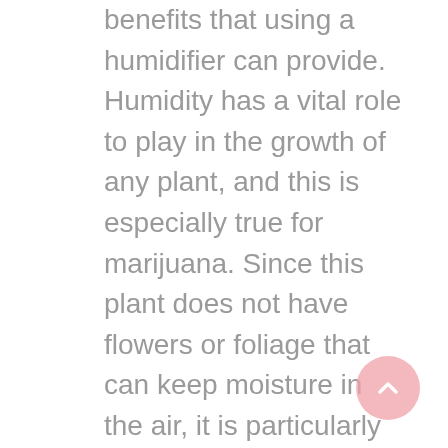benefits that using a humidifier can provide. Humidity has a vital role to play in the growth of any plant, and this is especially true for marijuana. Since this plant does not have flowers or foliage that can keep moisture in the air, it is particularly important to use the right moisture levels to get the best results possible. Many people do not realize that marijuana, like other types of weed, is essentially a plant that grows in the soil. It therefore requires an increased moisture level in order to thrive.
Plants that are accustomed to a specific temperature or weather need to be fed on a regular basis to keep them healthy. However, as marijuana plants grow, they may not be able to take in all the necessary nutrients because of the changing